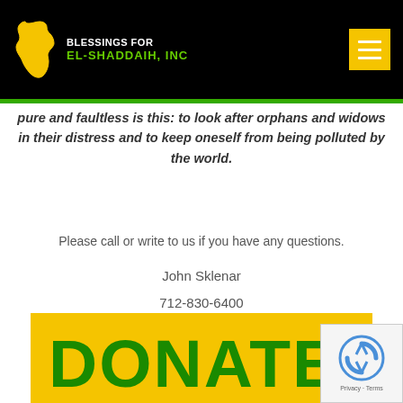Blessings for El-Shaddaih, Inc
pure and faultless is this: to look after orphans and widows in their distress and to keep oneself from being polluted by the world.
Please call or write to us if you have any questions.
John Sklenar
712-830-6400
john@sklenar.com
[Figure (other): Yellow donate banner with green hand-written DONATE text, partially visible]